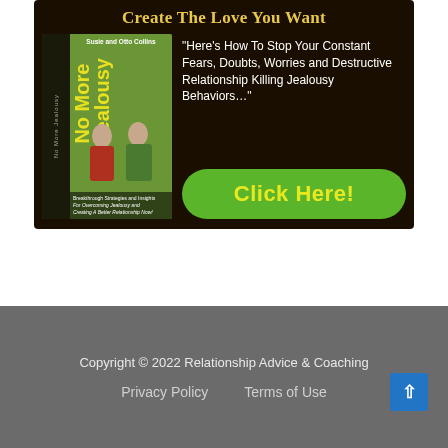[Figure (illustration): Book advertisement banner for 'No More Jealousy' by Susie and Otto Collins on a dark brown/black background. Title at top in yellow gold serif font: 'Create The Love You Want'. Left side shows book cover with green background, yellow title text 'No More Jealousy', couple photo, and author name. Right side has white quote text: "Here's How To Stop Your Constant Fears, Doubts, Worries and Destructive Relationship Killing Jealousy Behaviors…" and a green rounded button with yellow text 'Click Here!']
Jealousy Stopping Secrets - Click Here!
Copyright © 2022 Relationship Advice & Coaching
Privacy Policy   Terms of Use